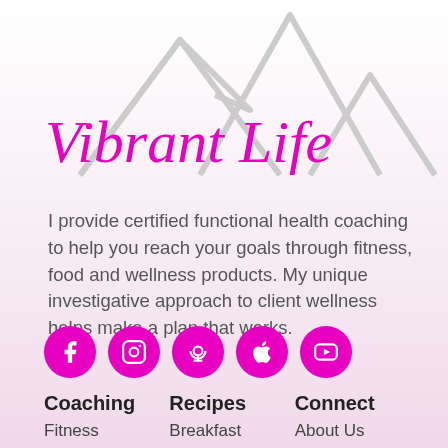[Figure (logo): Mountain outline logo with three peaks in light gray]
Vibrant Life
I provide certified functional health coaching to help you reach your goals through fitness, food and wellness products. My unique investigative approach to client wellness helps make a plan that works.
[Figure (infographic): Row of five magenta/pink circular social media icons: Facebook, Instagram, Podcast, Apple, YouTube]
Coaching
Recipes
Connect
Fitness
Breakfast
About Us